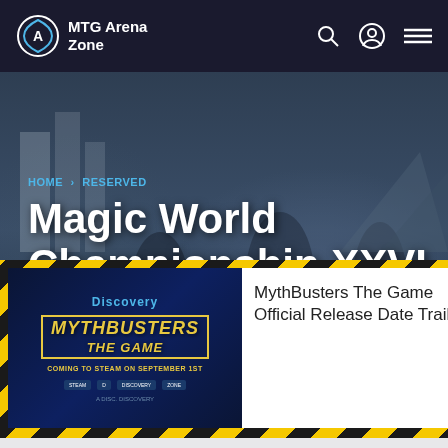MTG Arena Zone
HOME › RESERVED
Magic World Championship XXVI 2020 Day 2 Recap
[Figure (screenshot): Advertisement overlay: MythBusters The Game on Discovery, Coming to Steam on September 1st. Right side text reads: MythBusters The Game Official Release Date Trailer]
We have another one concluded. Since author: ...